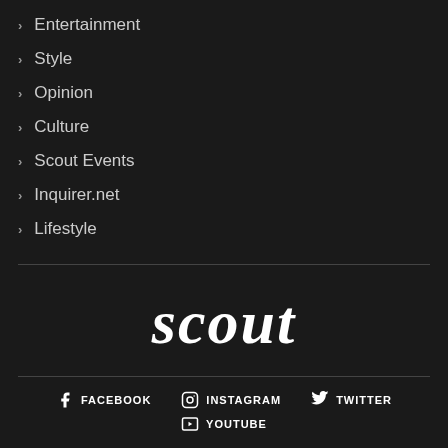Entertainment
Style
Opinion
Culture
Scout Events
Inquirer.net
Lifestyle
[Figure (logo): Scout magazine logo in bold italic serif white text on dark background]
FACEBOOK   INSTAGRAM   TWITTER   YOUTUBE